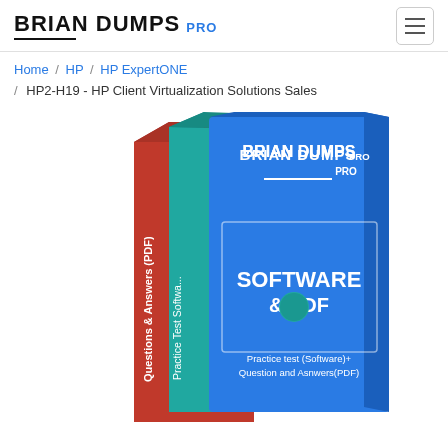BRIAN DUMPS PRO
Home / HP / HP ExpertONE / HP2-H19 - HP Client Virtualization Solutions Sales
[Figure (illustration): Product box set illustration showing three books/boxes: a red book labeled 'Questions & Answers (PDF)', a teal book labeled 'Practice Test Software', and a blue box front labeled 'BRIAN DUMPS PRO SOFTWARE & PDF - Practice test (Software)+ Question and Asnwers(PDF)']